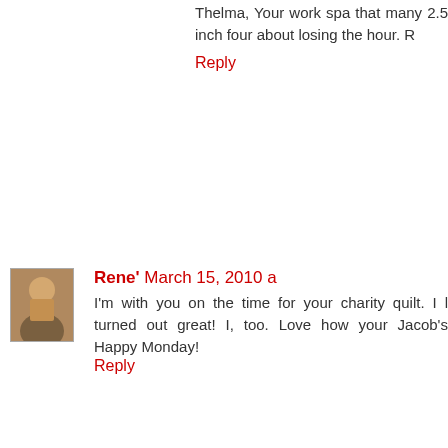Thelma, Your work spa that many 2.5 inch four about losing the hour. R
Reply
Rene' March 15, 2010 a
I'm with you on the time for your charity quilt. I l turned out great! I, too. Love how your Jacob's Happy Monday!
Reply
Unknown March 15, 20
It's never too late to join your space is. You ma chagrined perhaps. Those colours are so gr I'm with you on the time new time, 8 old time...